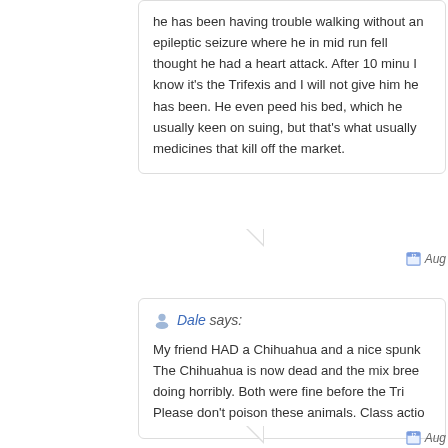he has been having trouble walking without an epileptic seizure where he in mid run fell thought he had a heart attack. After 10 minu I know it's the Trifexis and I will not give him he has been. He even peed his bed, which he usually keen on suing, but that's what usually medicines that kill off the market.
Aug
Dale says:
My friend HAD a Chihuahua and a nice spunk The Chihuahua is now dead and the mix bree doing horribly. Both were fine before the Tri Please don't poison these animals. Class actio
Aug